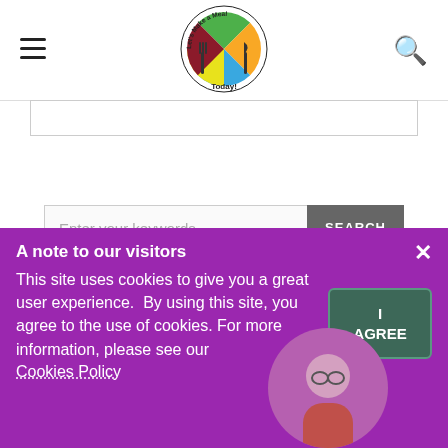[Figure (logo): Let's Make a Meal Today! circular logo with colorful pie chart and fork/knife]
Enter your keywords...
SEARCH
A note to our visitors
This site uses cookies to give you a great user experience.  By using this site, you agree to the use of cookies. For more information, please see our
Cookies Policy
I AGREE